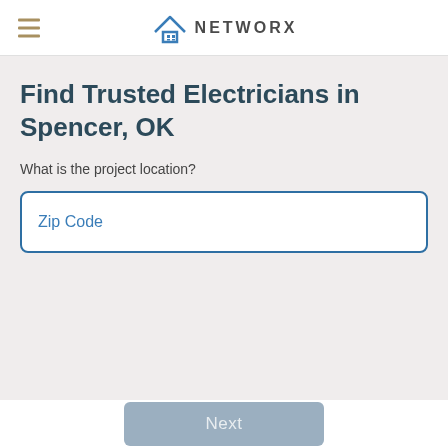NETWORX
Find Trusted Electricians in Spencer, OK
What is the project location?
Zip Code
Next